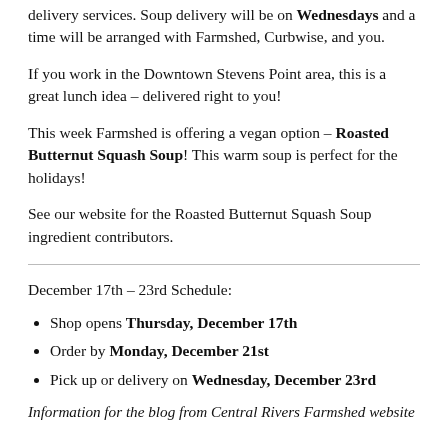delivery services. Soup delivery will be on Wednesdays and a time will be arranged with Farmshed, Curbwise, and you.
If you work in the Downtown Stevens Point area, this is a great lunch idea – delivered right to you!
This week Farmshed is offering a vegan option – Roasted Butternut Squash Soup! This warm soup is perfect for the holidays!
See our website for the Roasted Butternut Squash Soup ingredient contributors.
December 17th – 23rd Schedule:
Shop opens Thursday, December 17th
Order by Monday, December 21st
Pick up or delivery on Wednesday, December 23rd
Information for the blog from Central Rivers Farmshed website